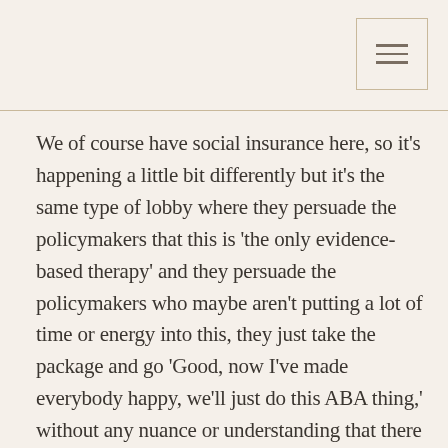[Figure (other): Hamburger menu icon button in top right corner]
We of course have social insurance here, so it's happening a little bit differently but it's the same type of lobby where they persuade the policymakers that this is 'the only evidence-based therapy' and they persuade the policymakers who maybe aren't putting a lot of time or energy into this, they just take the package and go 'Good, now I've made everybody happy, we'll just do this ABA thing,' without any nuance or understanding that there are so many different approaches that are evidence-based….that are not being funded, that families